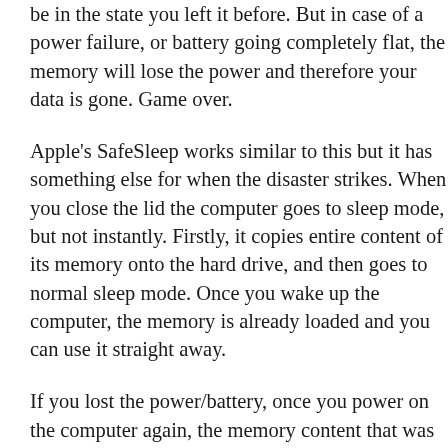be in the state you left it before. But in case of a power failure, or battery going completely flat, the memory will lose the power and therefore your data is gone. Game over.
Apple's SafeSleep works similar to this but it has something else for when the disaster strikes. When you close the lid the computer goes to sleep mode, but not instantly. Firstly, it copies entire content of its memory onto the hard drive, and then goes to normal sleep mode. Once you wake up the computer, the memory is already loaded and you can use it straight away.
If you lost the power/battery, once you power on the computer again, the memory content that was stored onto the hard disk will be loaded, so you take it from where you left it before. You will see the black and white screen while this is happening, so don't panic, your display is just fine.
And this is exactly where the problem is. You must not move your computer while the data is written to the hard drive. You have